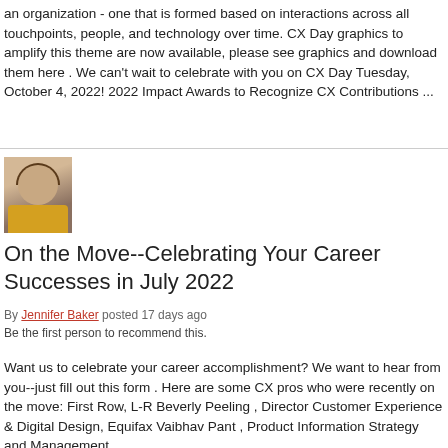an organization - one that is formed based on interactions across all touchpoints, people, and technology over time. CX Day graphics to amplify this theme are now available, please see graphics and download them here . We can't wait to celebrate with you on CX Day Tuesday, October 4, 2022! 2022 Impact Awards to Recognize CX Contributions ...
[Figure (photo): Headshot photo of a woman with brown hair wearing a yellow top]
On the Move--Celebrating Your Career Successes in July 2022
By Jennifer Baker posted 17 days ago
Be the first person to recommend this.
Want us to celebrate your career accomplishment? We want to hear from you--just fill out this form . Here are some CX pros who were recently on the move: First Row, L-R Beverly Peeling , Director Customer Experience & Digital Design, Equifax Vaibhav Pant , Product Information Strategy and Management,